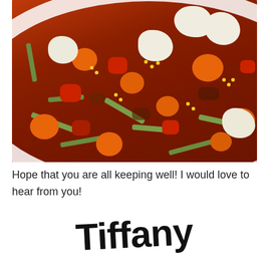[Figure (photo): A bowl of vegetable soup with carrots, cauliflower, green beans, corn, and tomatoes in a rich red-brown broth, photographed from above on a wooden table.]
Hope that you are all keeping well! I would love to hear from you!
Tiffany